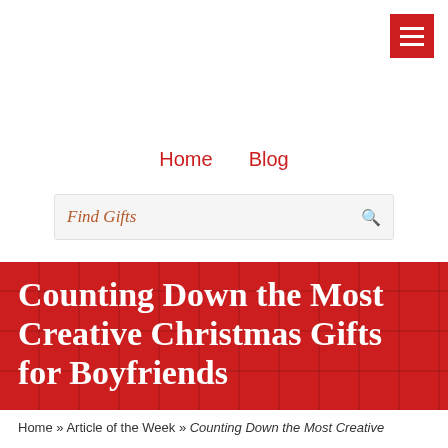≡ (hamburger menu)
Home  Blog
Find Gifts
Counting Down the Most Creative Christmas Gifts for Boyfriends
Home » Article of the Week » Counting Down the Most Creative